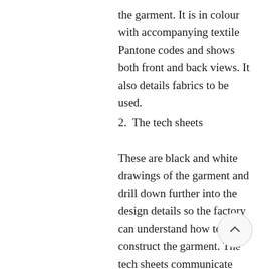the garment. It is in colour with accompanying textile Pantone codes and shows both front and back views. It also details fabrics to be used.
2.  The tech sheets
These are black and white drawings of the garment and drill down further into the design details so the factory can understand how to construct the garment. The tech sheets communicate which techniques you want to use on things like prints and embellishments, and specifies information on any branded elements like zip pulls, badges and labels. Seams, stitching and buttons are referenced along with design details such as pockets, collars